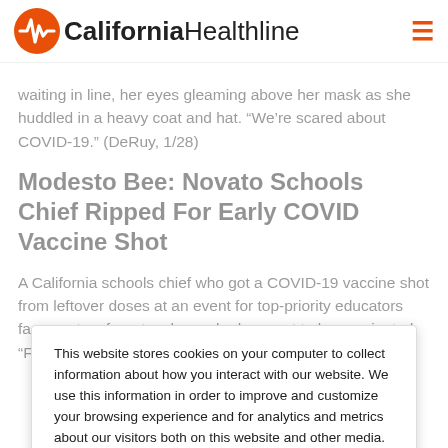California Healthline
waiting in line, her eyes gleaming above her mask as she huddled in a heavy coat and hat. “We’re scared about COVID-19.” (DeRuy, 1/28)
Modesto Bee: Novato Schools Chief Ripped For Early COVID Vaccine Shot
A California schools chief who got a COVID-19 vaccine shot from leftover doses at an event for top-priority educators faces outcry from teachers who have yet to be vaccinated. “For me, what it feels
This website stores cookies on your computer to collect information about how you interact with our website. We use this information in order to improve and customize your browsing experience and for analytics and metrics about our visitors both on this website and other media. To find out more about the cookies we use, see our Privacy Policy.